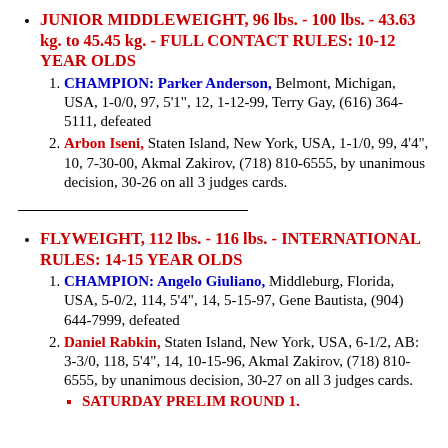JUNIOR MIDDLEWEIGHT, 96 lbs. - 100 lbs. - 43.63 kg. to 45.45 kg. - FULL CONTACT RULES: 10-12 YEAR OLDS
1. CHAMPION: Parker Anderson, Belmont, Michigan, USA, 1-0/0, 97, 5'1", 12, 1-12-99, Terry Gay, (616) 364-5111, defeated
2. Arbon Iseni, Staten Island, New York, USA, 1-1/0, 99, 4'4", 10, 7-30-00, Akmal Zakirov, (718) 810-6555, by unanimous decision, 30-26 on all 3 judges cards.
FLYWEIGHT, 112 lbs. - 116 lbs. - INTERNATIONAL RULES: 14-15 YEAR OLDS
1. CHAMPION: Angelo Giuliano, Middleburg, Florida, USA, 5-0/2, 114, 5'4", 14, 5-15-97, Gene Bautista, (904) 644-7999, defeated
2. Daniel Rabkin, Staten Island, New York, USA, 6-1/2, AB: 3-3/0, 118, 5'4", 14, 10-15-96, Akmal Zakirov, (718) 810-6555, by unanimous decision, 30-27 on all 3 judges cards.
SATURDAY PRELIM ROUND 1.